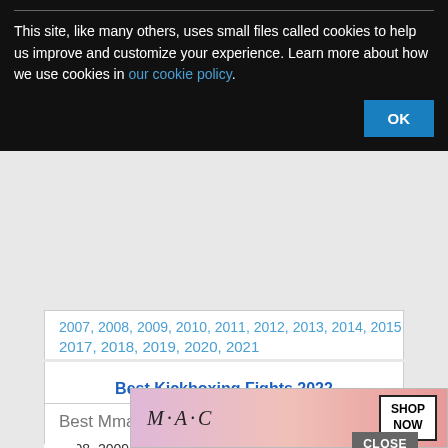This site, like many others, uses small files called cookies to help us improve and customize your experience. Learn more about how we use cookies in our cookie policy.
OK
2007, 2008, 2009, 2010, 2011, 2012, 2013, 2014, 2015, 2016, 2017, 2018, 2019, 2020, 2021
Best Kickboxing Fights 2022
Best Mma fights of
2008, 2009, 2010, 2011, 2012, 2013, 2014, 2015, 2016, 2017
CLOSE
[Figure (photo): MAC cosmetics advertisement showing lipsticks with SHOP NOW button]